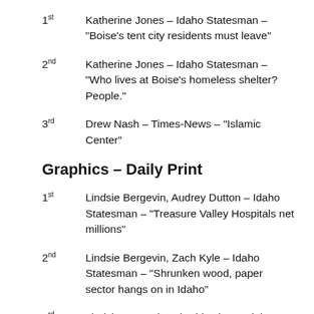1st  Katherine Jones – Idaho Statesman – “Boise’s tent city residents must leave”
2nd  Katherine Jones – Idaho Statesman – “Who lives at Boise’s homeless shelter? People.”
3rd  Drew Nash – Times-News – “Islamic Center”
Graphics – Daily Print
1st  Lindsie Bergevin, Audrey Dutton – Idaho Statesman – “Treasure Valley Hospitals net millions”
2nd  Lindsie Bergevin, Zach Kyle – Idaho Statesman – “Shrunken wood, paper sector hangs on in Idaho”
3rd  Lindsie Bergevin, Chadd Cripe – Idaho Statesman – “Boise State football players from Southern